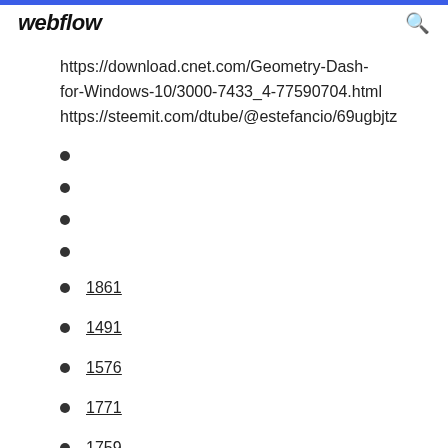webflow
https://download.cnet.com/Geometry-Dash-for-Windows-10/3000-7433_4-77590704.html
https://steemit.com/dtube/@estefancio/69ugbjtz
1861
1491
1576
1771
1759